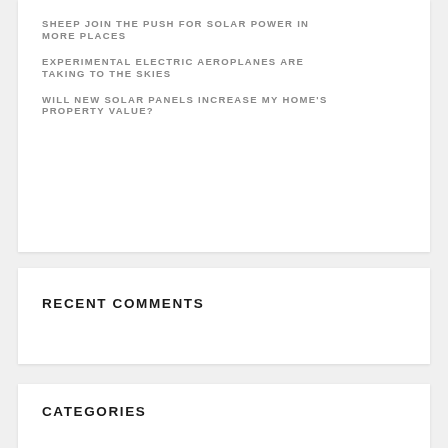SHEEP JOIN THE PUSH FOR SOLAR POWER IN MORE PLACES
EXPERIMENTAL ELECTRIC AEROPLANES ARE TAKING TO THE SKIES
WILL NEW SOLAR PANELS INCREASE MY HOME'S PROPERTY VALUE?
RECENT COMMENTS
CATEGORIES